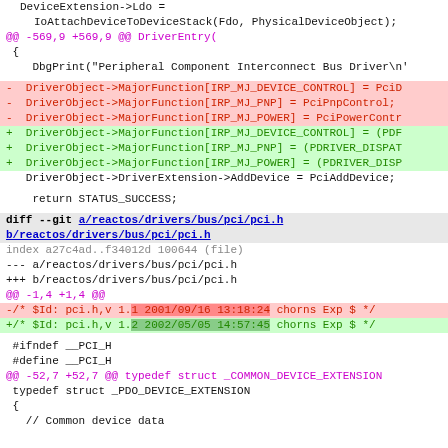DeviceExtension->Ldo = IoAttachDeviceToDeviceStack(Fdo, PhysicalDeviceObject);
@@ -569,9 +569,9 @@ DriverEntry(
{
    DbgPrint("Peripheral Component Interconnect Bus Driver\n'
-   DriverObject->MajorFunction[IRP_MJ_DEVICE_CONTROL] = PciD
-   DriverObject->MajorFunction[IRP_MJ_PNP] = PciPnpControl;
-   DriverObject->MajorFunction[IRP_MJ_POWER] = PciPowerContr
+   DriverObject->MajorFunction[IRP_MJ_DEVICE_CONTROL] = (PDF
+   DriverObject->MajorFunction[IRP_MJ_PNP] = (PDRIVER_DISPAT
+   DriverObject->MajorFunction[IRP_MJ_POWER] = (PDRIVER_DISP
    DriverObject->DriverExtension->AddDevice = PciAddDevice;
return STATUS_SUCCESS;
diff --git a/reactos/drivers/bus/pci/pci.h b/reactos/drivers/bus/pci/pci.h
index a27c4ad..f34012d 100644 (file)
--- a/reactos/drivers/bus/pci/pci.h
+++ b/reactos/drivers/bus/pci/pci.h
@@ -1,4 +1,4 @@
-/* $Id: pci.h,v 1.1 2001/09/16 13:18:24 chorns Exp $ */
+/* $Id: pci.h,v 1.2 2002/05/05 14:57:45 chorns Exp $ */
#ifndef __PCI_H
 #define __PCI_H
@@ -52,7 +52,7 @@ typedef struct _COMMON_DEVICE_EXTENSION
typedef struct _PDO_DEVICE_EXTENSION
 {
   // Common device data